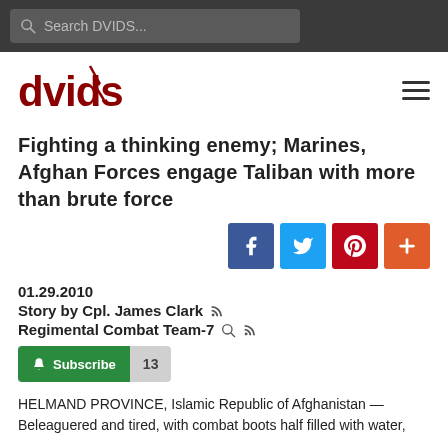Search DVIDS...
[Figure (logo): DVIDS logo — red stylized text with lightning bolt]
Fighting a thinking enemy; Marines, Afghan Forces engage Taliban with more than brute force
[Figure (infographic): Social share buttons: Facebook, Twitter, Pinterest, and a plus/more button]
01.29.2010
Story by Cpl. James Clark
Regimental Combat Team-7
Subscribe 13
HELMAND PROVINCE, Islamic Republic of Afghanistan — Beleaguered and tired, with combat boots half filled with water,